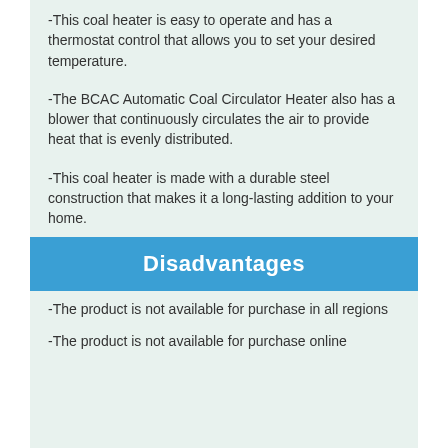-This coal heater is easy to operate and has a thermostat control that allows you to set your desired temperature.
-The BCAC Automatic Coal Circulator Heater also has a blower that continuously circulates the air to provide heat that is evenly distributed.
-This coal heater is made with a durable steel construction that makes it a long-lasting addition to your home.
Disadvantages
-The product is not available for purchase in all regions
-The product is not available for purchase online